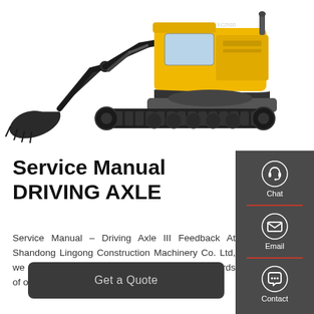[Figure (photo): Yellow Volvo excavator with large bucket attachment, black tracked base, white background]
Service Manual DRIVING AXLE
Service Manual – Driving Axle III Feedback At Shandong Lingong Construction Machinery Co. Ltd, we are continually striving to improve the standards of our …
[Figure (infographic): Dark grey sidebar with three contact icons: Chat (headset), Email (envelope), Contact (speech bubble with dots), separated by red dividers]